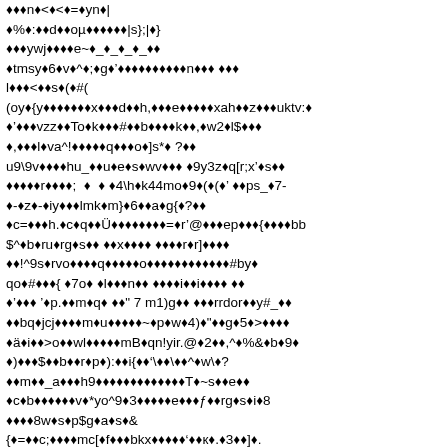🔷🔷🔷n🔷<🔷<🔷=🔷yn🔷|
🔷%🔷:🔷🔷d🔷🔷oµ🔷🔷🔷🔷🔷🔷|s};|🔷}
🔷🔷🔷ywj🔷🔷🔷🔷e~🔷_🔷_🔷_🔷_🔷🔷
🔷tmsy🔷6🔷v🔷^🔷;🔷g🔷'🔷🔷🔷🔷🔷🔷🔷🔷🔷🔷n🔷🔷🔷 🔷🔷🔷
l🔷🔷🔷<🔷🔷s🔷(🔷#(
(oy🔷{y🔷🔷🔷🔷🔷🔷🔷x🔷🔷🔷d🔷🔷h,🔷🔷🔷e🔷🔷🔷🔷🔷xah🔷🔷z🔷🔷🔷uktv:🔷
🔷'🔷🔷🔷vzz🔷🔷To🔷k🔷🔷🔷#🔷🔷b🔷🔷🔷🔷k🔷🔷,🔷w2🔷l$🔷🔷🔷
🔷,🔷🔷🔷l🔷va^!🔷🔷🔷🔷🔷q🔷🔷🔷o🔷]s*🔷 ?🔷🔷
u9\9v🔷🔷🔷🔷hu_🔷🔷u🔷e🔷s🔷wv🔷🔷🔷 🔷9y3z🔷q[r;x'🔷s🔷🔷
🔷🔷🔷🔷🔷r🔷🔷🔷🔷; 🔷 🔷 🔷4\h🔷k44mo🔷9🔷(🔷(🔷' 🔷🔷ps_🔷7-
🔷-🔷z🔷-🔷iy🔷🔷🔷lmk🔷m}🔷6🔷🔷a🔷g{🔷?🔷🔷
🔷c=🔷🔷🔷h.🔷c🔷q🔷🔷Ü🔷🔷🔷🔷🔷🔷🔷🔷=🔷r'@🔷🔷🔷ep🔷🔷🔷{🔷🔷🔷🔷bb
$^🔷b🔷ru🔷rg🔷s🔷🔷 🔷🔷x🔷🔷🔷🔷 🔷🔷🔷🔷r🔷r]🔷🔷🔷🔷
🔷🔷!^9s🔷rvo🔷🔷🔷🔷q🔷🔷🔷🔷🔷o🔷🔷🔷🔷🔷🔷🔷🔷🔷🔷🔷🔷#by🔷
qo🔷#🔷🔷🔷{ 🔷7o🔷 🔷l🔷🔷🔷n🔷🔷 🔷🔷🔷🔷i🔷🔷i🔷🔷🔷🔷 🔷🔷
🔷'🔷🔷🔷 '🔷p.🔷🔷m🔷q🔷 🔷🔷" 7 m1)g🔷🔷 🔷🔷🔷rrdor🔷🔷y#_🔷🔷
🔷🔷bq🔷jcj🔷🔷🔷🔷m🔷u🔷🔷🔷🔷🔷~🔷p🔷w🔷4)🔷"🔷🔷g🔷5🔷>🔷🔷🔷🔷
🔷ä🔷i🔷🔷>o🔷🔷wl🔷🔷🔷🔷🔷mB🔷qn!yir.@🔷2🔷🔷,^🔷%&🔷b🔷9🔷
🔷)🔷🔷🔷$🔷🔷b🔷🔷r🔷p🔷):🔷🔷i{🔷🔷'🔷🔷'\🔷🔷^🔷w\🔷?
🔷🔷m🔷🔷_a🔷🔷🔷h9🔷🔷🔷🔷🔷🔷🔷🔷🔷🔷🔷🔷🔷T🔷~s🔷🔷e🔷🔷
🔷c🔷b🔷🔷🔷🔷🔷🔷v🔷*yo^9🔷3🔷🔷🔷🔷🔷e🔷🔷🔷ƒ🔷🔷rg🔷s🔷i🔷8
🔷🔷🔷🔷8w🔷s🔷p$g🔷a🔷s🔷&
{🔷=🔷🔷c;🔷🔷🔷🔷mc[🔷f🔷🔷🔷bkx🔷🔷🔷🔷🔷'🔷🔷к🔷.🔷3🔷🔷]🔷.
🔷🔷🔷5🔷🔷🔷🔷🔷{🔷🔷🔷🔷🔷 🔷🔷 🔷🔷🔷🔷🔷🔷🔷78🔷🔷🔷🔷🔷🔷🔷🔷🔷🔷🔷fl🔷